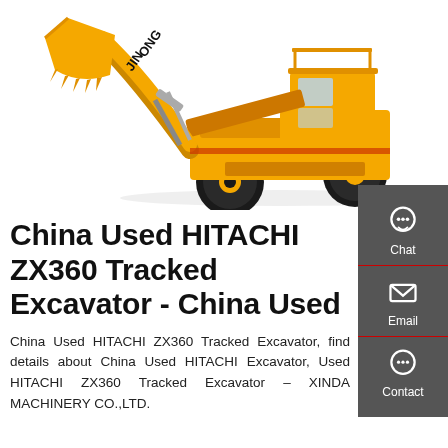[Figure (photo): Yellow front loader/wheel loader machine (JINLONG brand) on white background, showing large bucket arm, four rubber tires, and cab.]
China Used HITACHI ZX360 Tracked Excavator - China Used
China Used HITACHI ZX360 Tracked Excavator, find details about China Used HITACHI Excavator, Used HITACHI ZX360 Tracked Excavator – XINDA MACHINERY CO.,LTD.
[Figure (infographic): Dark grey sidebar with three contact options: Chat (headset icon), Email (envelope icon), Contact (speech bubble icon), separated by red horizontal lines.]